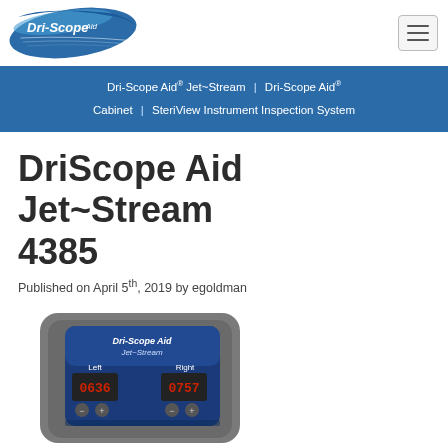[Figure (logo): Dri-Scope Aid logo with blue swoosh design and text 'Dri-Scope Aid']
Dri-Scope Aid® Jet~Stream | Dri-Scope Aid® Cabinet | SteriView Instrument Inspection System
DriScope Aid Jet~Stream 4385
Published on April 5th, 2019 by egoldman
[Figure (photo): Product photo of the DriScope Aid Jet~Stream 4385 device showing a gray device with a blue panel displaying 'Dri-Scope Aid Jet~Stream' text and two digital displays labeled 'Left' and 'Right' with red LED numbers and control buttons]